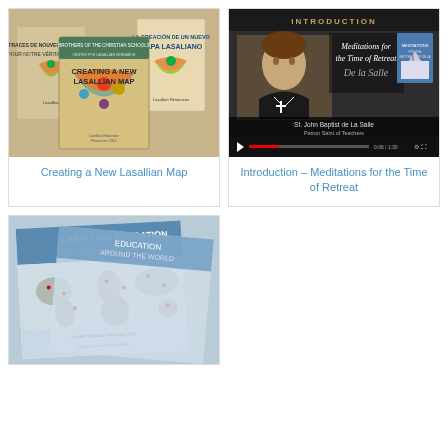[Figure (photo): Three book covers for 'Creating a New Lasallian Map' in English, Spanish, and French]
Creating a New Lasallian Map
[Figure (screenshot): Video screenshot showing 'Introduction – Meditations for the Time of Retreat' with St. John Baptist de La Salle portrait and a church building image]
Introduction – Meditations for the Time of Retreat
[Figure (photo): Poster showing 'Lasallian Education Around the World' with a world map]